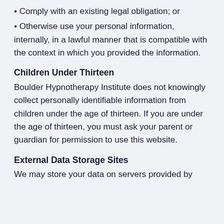Comply with an existing legal obligation; or
Otherwise use your personal information, internally, in a lawful manner that is compatible with the context in which you provided the information.
Children Under Thirteen
Boulder Hypnotherapy Institute does not knowingly collect personally identifiable information from children under the age of thirteen. If you are under the age of thirteen, you must ask your parent or guardian for permission to use this website.
External Data Storage Sites
We may store your data on servers provided by